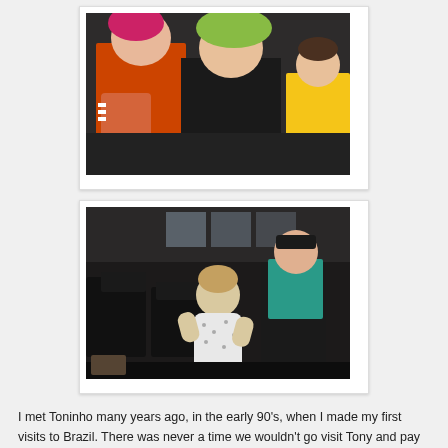[Figure (photo): A photo showing two people (one with pink/red hair, one with green/blonde hair) sitting together smiling, and a child in a yellow shirt in the background, appearing to be in an airport or waiting area.]
[Figure (photo): A photo of a toddler in a white outfit standing in what appears to be an airport waiting area with dark seating, and an adult bending towards the child. Dark interior setting.]
I met Toninho many years ago, in the early 90's, when I made my first visits to Brazil. There was never a time we wouldn't go visit Tony and pay our respect to him. It was exciting to go to a store that was Sepultura from head to toe! I had never seen a shop that was dedicated to one band only and I thought Tony was a real pioneer. We have stayed friends with Tony even through years of confusion, nothing has changed the love of music we all share. Tony is a man with a big heart that fiercely beats for Metal.